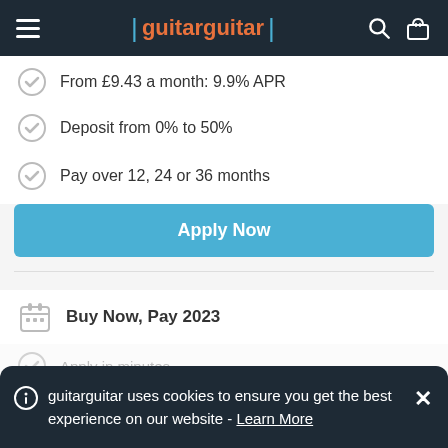guitarguitar
From £9.43 a month: 9.9% APR
Deposit from 0% to 50%
Pay over 12, 24 or 36 months
Apply Now
Buy Now, Pay 2023
Apply in minutes
Apply Now
guitarguitar uses cookies to ensure you get the best experience on our website - Learn More